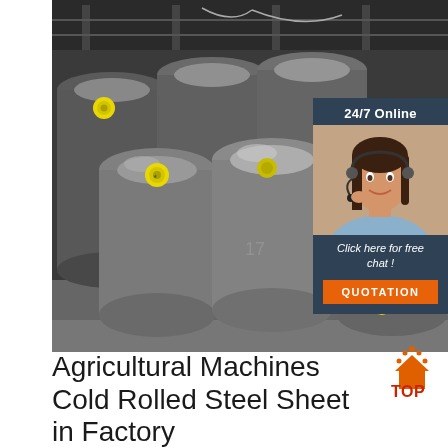[Figure (photo): Industrial steel round bars/rods stacked together in a factory setting, viewed from the end showing circular cross-sections with yellow sticker labels. Dark industrial background with overhead structure visible.]
[Figure (photo): Sidebar panel with '24/7 Online' text, photo of smiling woman with headset (customer service representative), 'Click here for free chat!' italic text, and orange QUOTATION button. Dark blue/grey background.]
[Figure (logo): TOP logo with orange house/flame icon and red TOP text]
Agricultural Machines Cold Rolled Steel Sheet in Factory